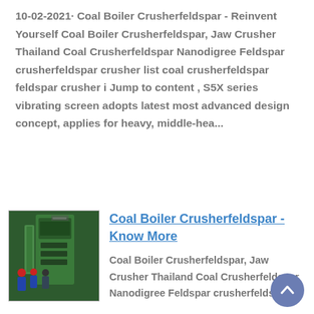10-02-2021· Coal Boiler Crusherfeldspar - Reinvent Yourself Coal Boiler Crusherfeldspar, Jaw Crusher Thailand Coal Crusherfeldspar Nanodigree Feldspar crusherfeldspar crusher list coal crusherfeldspar feldspar crusher i Jump to content , S5X series vibrating screen adopts latest most advanced design concept, applies for heavy, middle-hea...
[Figure (photo): Thumbnail image of workers in blue workwear standing near a large green industrial machine (crusher/boiler equipment)]
Coal Boiler Crusherfeldspar - Know More
Coal Boiler Crusherfeldspar, Jaw Crusher Thailand Coal Crusherfeldspar Nanodigree Feldspar crusherfeldspar...